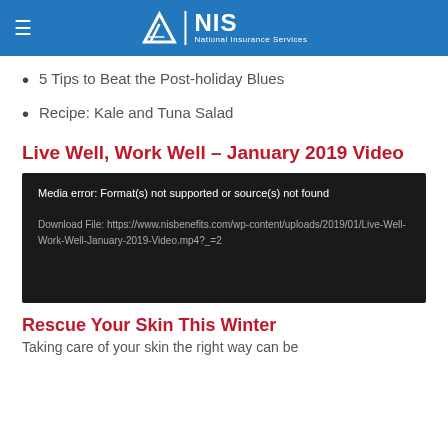NIS National Insurance Services
5 Tips to Beat the Post-holiday Blues
Recipe: Kale and Tuna Salad
Live Well, Work Well – January 2019 Video
[Figure (other): Video player showing media error: Format(s) not supported or source(s) not found. Download File: https://www.nisbenefits.com/wp-content/uploads/2019/01/Live-Well-Work-Well-January-2019-Video.mp4?_=2]
Rescue Your Skin This Winter
Taking care of your skin the right way can be